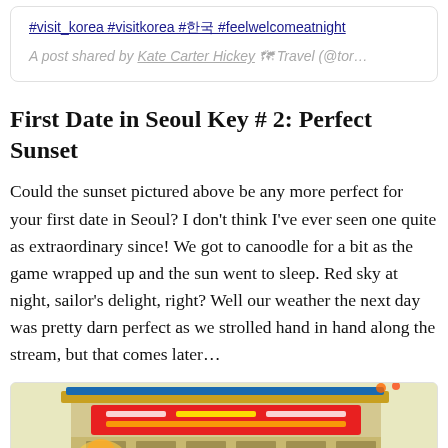#visit_korea #visitkorea #한국 #feelwelcomeatnight
A post shared by Kate Carter Hickey 🗺 Travel (@tor…)
First Date in Seoul Key # 2: Perfect Sunset
Could the sunset pictured above be any more perfect for your first date in Seoul?  I don't think I've ever seen one quite as extraordinary since!  We got to canoodle for a bit as the game wrapped up and the sun went to sleep.  Red sky at night, sailor's delight, right?  Well our weather the next day was pretty darn perfect as we strolled hand in hand along the stream, but that comes later…
[Figure (photo): Bottom portion of a photo showing a colorful Korean building facade with signage]